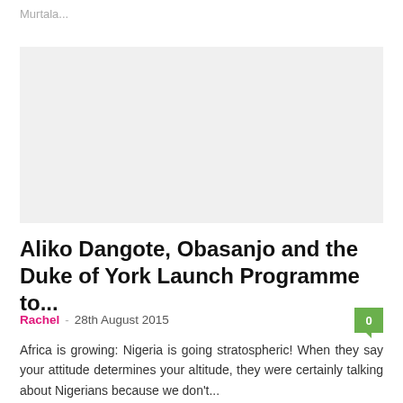Murtala...
[Figure (photo): Light gray image placeholder rectangle]
Aliko Dangote, Obasanjo and the Duke of York Launch Programme to...
Rachel · 28th August 2015
Africa is growing: Nigeria is going stratospheric! When they say your attitude determines your altitude, they were certainly talking about Nigerians because we don't...